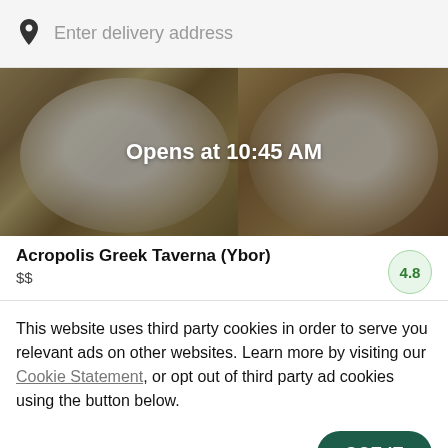Enter delivery address
[Figure (photo): Hero image of Greek food dishes with overlay text 'Opens at 10:45 AM']
Acropolis Greek Taverna (Ybor)
$$
4.8
This website uses third party cookies in order to serve you relevant ads on other websites. Learn more by visiting our Cookie Statement, or opt out of third party ad cookies using the button below.
OPT OUT
GOT IT